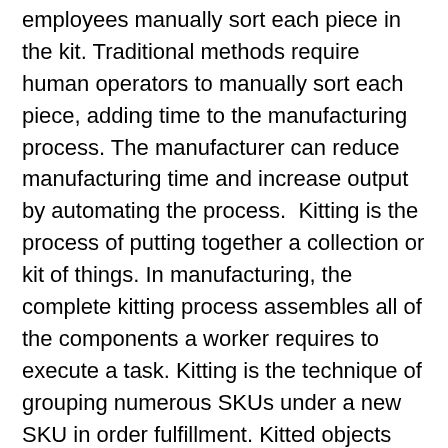employees manually sort each piece in the kit. Traditional methods require human operators to manually sort each piece, adding time to the manufacturing process. The manufacturer can reduce manufacturing time and increase output by automating the process.  Kitting is the process of putting together a collection or kit of things. In manufacturing, the complete kitting process assembles all of the components a worker requires to execute a task. Kitting is the technique of grouping numerous SKUs under a new SKU in order fulfillment. Kitted objects are frequently marketed as a set.
Saves money
The benefits of aerospace kitting solutions are numerous. Unlike individual parts, these items are packaged together and shipped in a single box. The parts are arranged in a